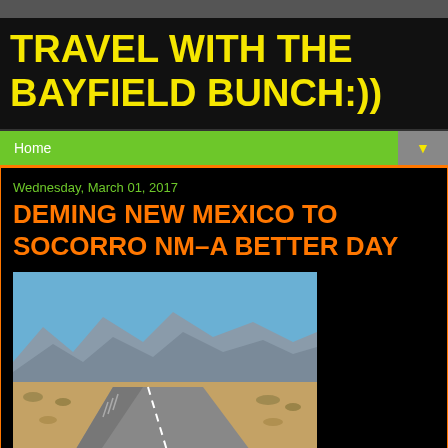TRAVEL WITH THE BAYFIELD BUNCH:))
Home
Wednesday, March 01, 2017
DEMING NEW MEXICO TO SOCORRO NM–A BETTER DAY
[Figure (photo): Photograph of a curving desert highway with mountains in the background under a clear blue sky, likely near Las Cruces, New Mexico.]
CRUISING THROUGH LAS CRUCES NEW MEXICO